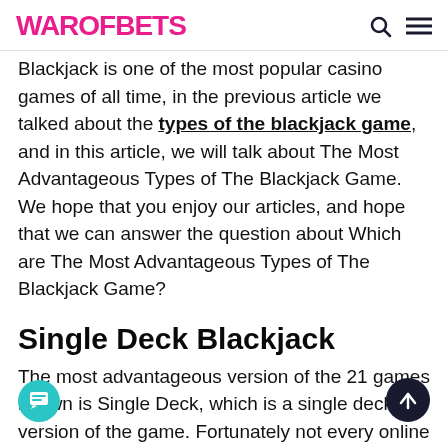WAROFBETS
Blackjack is one of the most popular casino games of all time, in the previous article we talked about the types of the blackjack game, and in this article, we will talk about The Most Advantageous Types of The Blackjack Game. We hope that you enjoy our articles, and hope that we can answer the question about Which are The Most Advantageous Types of The Blackjack Game?
Single Deck Blackjack
The most advantageous version of the 21 games known is Single Deck, which is a single deck version of the game. Fortunately not every online casino website has this type of blackjack game. And the same situation is seen in the